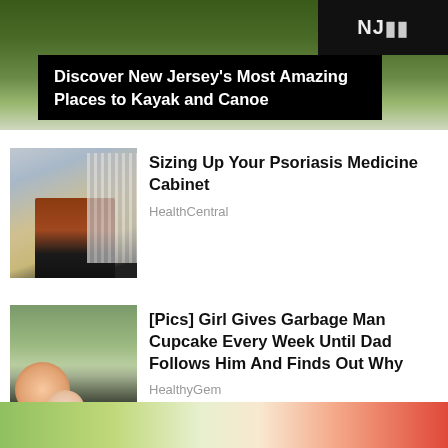[Figure (photo): Outdoor nature/kayaking location banner image with dark overlay title block]
Discover New Jersey's Most Amazing Places to Kayak and Canoe
[Figure (photo): Person shopping in pharmacy/store aisle]
Sizing Up Your Psoriasis Medicine Cabinet
HealthCentral
[Figure (photo): Man and young girl smiling outdoors]
[Pics] Girl Gives Garbage Man Cupcake Every Week Until Dad Follows Him And Finds Out Why
HealthyGem
[Figure (photo): Partial bottom image with green and red diagonal stripes]